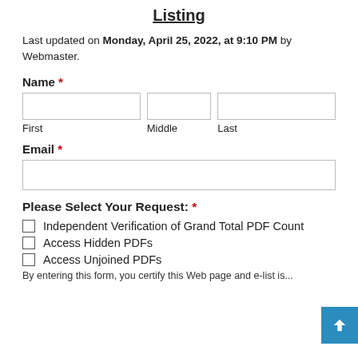Listing
Last updated on Monday, April 25, 2022, at 9:10 PM by Webmaster.
Name *
First  Middle  Last
Email *
Please Select Your Request: *
Independent Verification of Grand Total PDF Count
Access Hidden PDFs
Access Unjoined PDFs
By entering this form, you certify this Web page and e-list is...